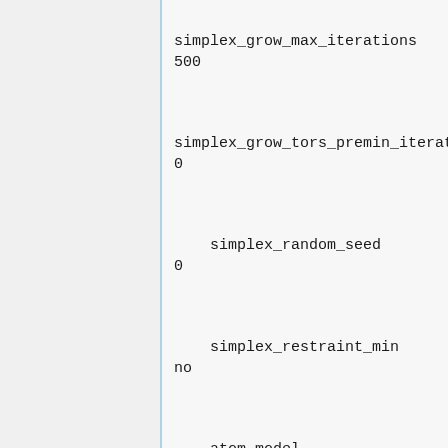simplex_grow_max_iterations
500
simplex_grow_tors_premin_itera...
0
simplex_random_seed
0
simplex_restraint_min
no
atom_model
all
vdw_defn_file
../docktutorial/zzz.parameters/...
flex_defn_file
../docktutorial/zzz.parameters/...
flex_drive_file
../docktutorial/zzz.parameters/...